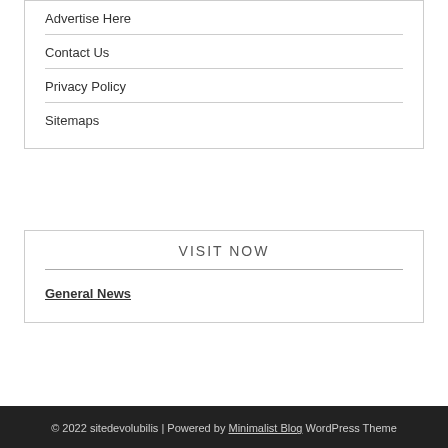Advertise Here
Contact Us
Privacy Policy
Sitemaps
VISIT NOW
General News
© 2022 sitedevolubilis | Powered by Minimalist Blog WordPress Theme